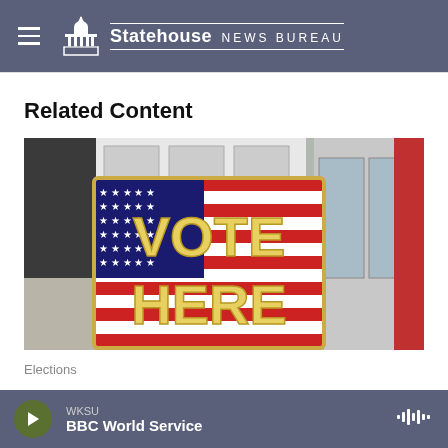Statehouse NEWS BUREAU
Related Content
[Figure (photo): A 'VOTE HERE' sign with American flag background displayed outdoors in front of a building with glass doors]
Elections
WKSU — BBC World Service